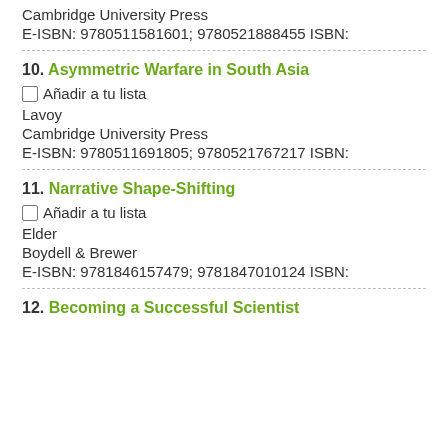Cambridge University Press
E-ISBN: 9780511581601; 9780521888455 ISBN:
10. Asymmetric Warfare in South Asia
Añadir a tu lista
Lavoy
Cambridge University Press
E-ISBN: 9780511691805; 9780521767217 ISBN:
11. Narrative Shape-Shifting
Añadir a tu lista
Elder
Boydell &amp; Brewer
E-ISBN: 9781846157479; 9781847010124 ISBN:
12. Becoming a Successful Scientist